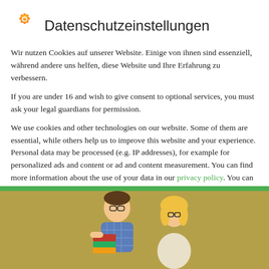Datenschutzeinstellungen
Wir nutzen Cookies auf unserer Website. Einige von ihnen sind essenziell, während andere uns helfen, diese Website und Ihre Erfahrung zu verbessern.
If you are under 16 and wish to give consent to optional services, you must ask your legal guardians for permission.
We use cookies and other technologies on our website. Some of them are essential, while others help us to improve this website and your experience. Personal data may be processed (e.g. IP addresses), for example for personalized ads and content or ad and content measurement. You can find more information about the use of your data in our privacy policy. You can revoke or
Essenziell
Statistiken
External Media
[Figure (illustration): Bottom portion of image showing illustrated characters (a man holding books and a blonde woman) on a warm yellow-brown background, with a green bar at the top of the image area.]